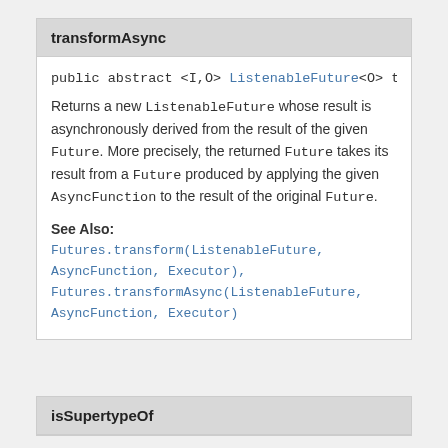transformAsync
public abstract <I,O> ListenableFuture<O> transfo
Returns a new ListenableFuture whose result is asynchronously derived from the result of the given Future. More precisely, the returned Future takes its result from a Future produced by applying the given AsyncFunction to the result of the original Future.
See Also:
Futures.transform(ListenableFuture, AsyncFunction, Executor), Futures.transformAsync(ListenableFuture, AsyncFunction, Executor)
isSupertypeOf